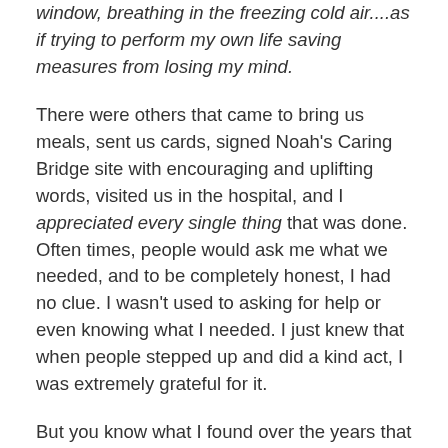window, breathing in the freezing cold air....as if trying to perform my own life saving measures from losing my mind.
There were others that came to bring us meals, sent us cards, signed Noah's Caring Bridge site with encouraging and uplifting words, visited us in the hospital, and I appreciated every single thing that was done. Often times, people would ask me what we needed, and to be completely honest, I had no clue. I wasn't used to asking for help or even knowing what I needed. I just knew that when people stepped up and did a kind act, I was extremely grateful for it.
But you know what I found over the years that truly brought me joy? It was when I took a moment to do something for somebody else. Despite what we were going through, when I took time to see someone else in